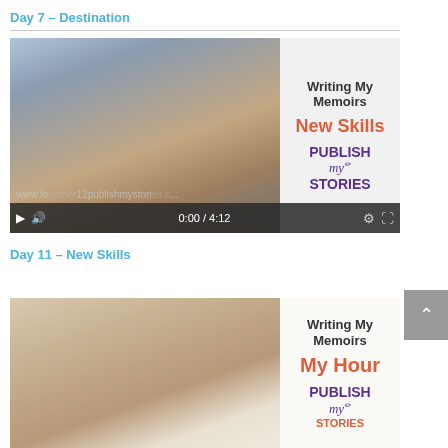Day 7 – Destination
[Figure (screenshot): Video thumbnail showing a woman with sunglasses outdoors against cloudy sky, with overlay panel showing 'Writing My Memoirs / New Skills / PUBLISH my STORIES'. Video controls show 0:00 / 4:12.]
Day 11 – New Skills
[Figure (screenshot): Video thumbnail showing a woman with glasses indoors against beige wall, with overlay panel showing 'Writing My Memoirs / My Hour / PUBLISH my STORIES'.]